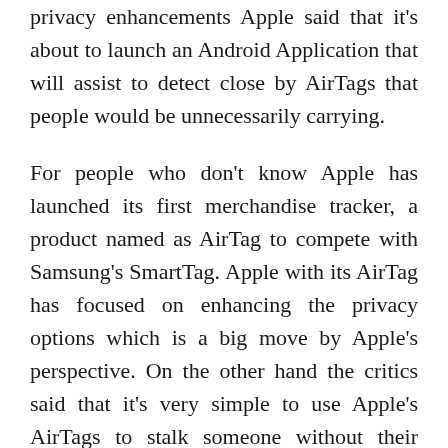privacy enhancements Apple said that it's about to launch an Android Application that will assist to detect close by AirTags that people would be unnecessarily carrying.
For people who don't know Apple has launched its first merchandise tracker, a product named as AirTag to compete with Samsung's SmartTag. Apple with its AirTag has focused on enhancing the privacy options which is a big move by Apple's perspective. On the other hand the critics said that it's very simple to use Apple's AirTags to stalk someone without their data. It is comparatively easy when one who is being tracked has an Android device.
Apple has announced a few changes which are built to improve the privacy of the AirTag trackers. Apple is working on the time that AirTags take to make an alert after being separated from their owner. Later this year